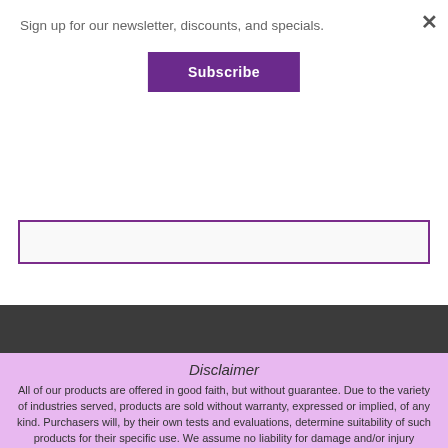Sign up for our newsletter, discounts, and specials.
Subscribe
Disclaimer
All of our products are offered in good faith, but without guarantee. Due to the variety of industries served, products are sold without warranty, expressed or implied, of any kind. Purchasers will, by their own tests and evaluations, determine suitability of such products for their specific use. We assume no liability for damage and/or injury resulting from the use of products supplied by this company. In no